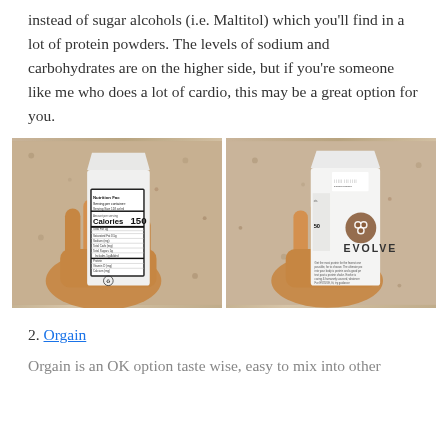instead of sugar alcohols (i.e. Maltitol) which you'll find in a lot of protein powders. The levels of sodium and carbohydrates are on the higher side, but if you're someone like me who does a lot of cardio, this may be a great option for you.
[Figure (photo): Two photos side by side of hands holding an EVOLVE protein drink carton: left photo shows the nutrition facts panel (Calories 150), right photo shows the EVOLVE brand logo and back panel text.]
2. Orgain
Orgain is an OK option taste wise, easy to mix into other